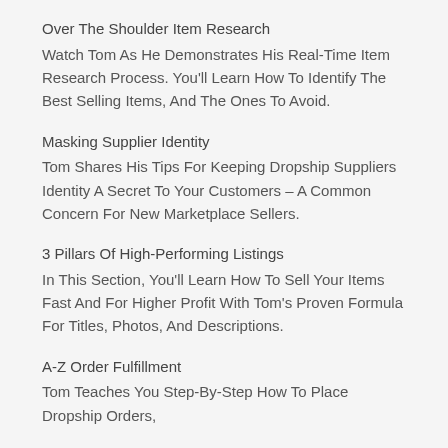Over The Shoulder Item Research
Watch Tom As He Demonstrates His Real-Time Item Research Process. You'll Learn How To Identify The Best Selling Items, And The Ones To Avoid.
Masking Supplier Identity
Tom Shares His Tips For Keeping Dropship Suppliers Identity A Secret To Your Customers – A Common Concern For New Marketplace Sellers.
3 Pillars Of High-Performing Listings
In This Section, You'll Learn How To Sell Your Items Fast And For Higher Profit With Tom's Proven Formula For Titles, Photos, And Descriptions.
A-Z Order Fulfillment
Tom Teaches You Step-By-Step How To Place Dropship Orders,